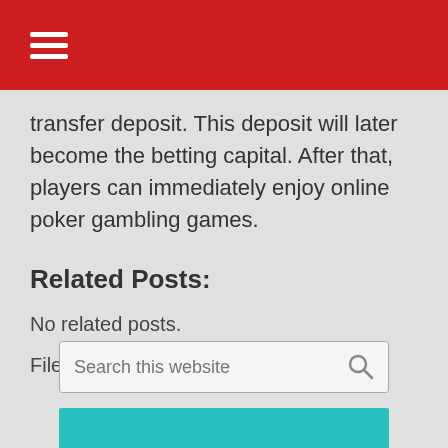☰
transfer deposit. This deposit will later become the betting capital. After that, players can immediately enjoy online poker gambling games.
Related Posts:
No related posts.
Filed Under: Uncategorized